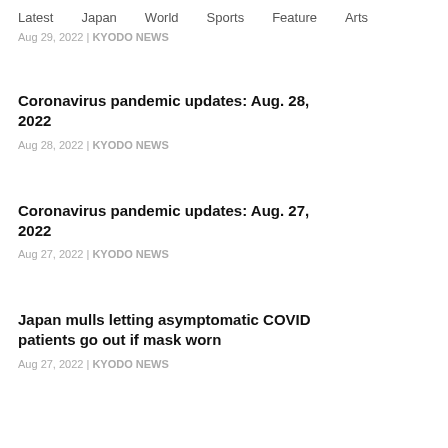Latest  Japan  World  Sports  Feature  Arts
Aug 29, 2022 | KYODO NEWS
Coronavirus pandemic updates: Aug. 28, 2022
Aug 28, 2022 | KYODO NEWS
Coronavirus pandemic updates: Aug. 27, 2022
Aug 27, 2022 | KYODO NEWS
Japan mulls letting asymptomatic COVID patients go out if mask worn
Aug 27, 2022 | KYODO NEWS